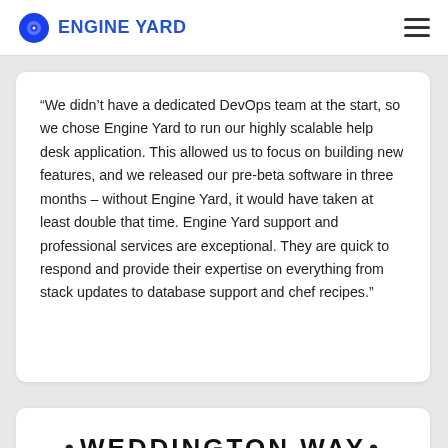ENGINE YARD
“We didn’t have a dedicated DevOps team at the start, so we chose Engine Yard to run our highly scalable help desk application. This allowed us to focus on building new features, and we released our pre-beta software in three months – without Engine Yard, it would have taken at least double that time. Engine Yard support and professional services are exceptional. They are quick to respond and provide their expertise on everything from stack updates to database support and chef recipes.”
•WEDDINGTON WAY•